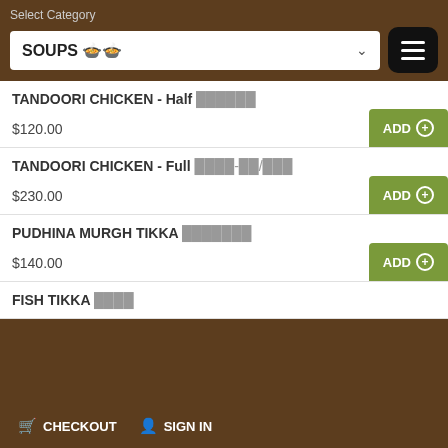Select Category
SOUPS 🍲
TANDOORI CHICKEN - Half 🍗🍗🍗🍗🍗🍗 $120.00
TANDOORI CHICKEN - Full 🍗🍗🍗🍗-🍗🍗/🍗🍗🍗 $230.00
PUDHINA MURGH TIKKA 🍗🍗🍗🍗🍗🍗🍗 $140.00
FISH TIKKA 🐟🐟🐟🐟
🛒 CHECKOUT 👤 SIGN IN